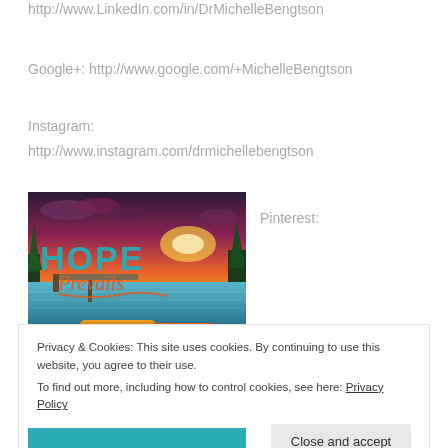http://www.LinkedIn.com/in/DrMichelleBengtson
Google+: http://www.google.com/+MichelleBengtson
Instagram:
http://www.instagram.com/drmichellebengtson
[Figure (illustration): Book cover image with text HOPE Prevails over a scenic lake background with red and orange sunset sky and wooden boats]
Pinterest:
Privacy & Cookies: This site uses cookies. By continuing to use this website, you agree to their use.
To find out more, including how to control cookies, see here: Privacy Policy
Close and accept